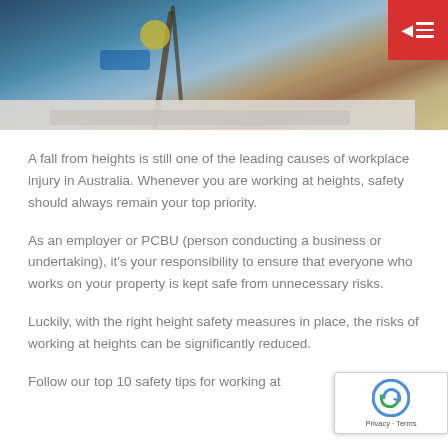[Figure (photo): A photograph of a worker at heights with safety equipment, ropes and harness visible against a light background. A red hamburger menu button overlay is in the top-right corner.]
A fall from heights is still one of the leading causes of workplace injury in Australia. Whenever you are working at heights, safety should always remain your top priority.
As an employer or PCBU (person conducting a business or undertaking), it’s your responsibility to ensure that everyone who works on your property is kept safe from unnecessary risks.
Luckily, with the right height safety measures in place, the risks of working at heights can be significantly reduced.
Follow our top 10 safety tips for working at